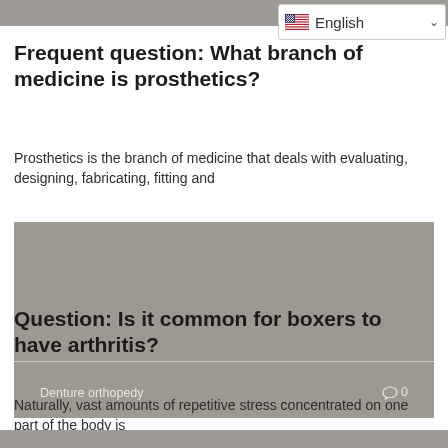[Figure (screenshot): Language selector dropdown showing English with a US flag icon and a chevron/arrow]
Frequent question: What branch of medicine is prosthetics?
Prosthetics is the branch of medicine that deals with evaluating, designing, fabricating, fitting and
[Figure (photo): Gray placeholder image with caption 'Denture orthopedy' on the lower left and a comment icon with '0' on the lower right]
Question: Is it common for boxers to have arthritis?
Naturally, vast amounts of repetitive stress concentrated on one part of the body is